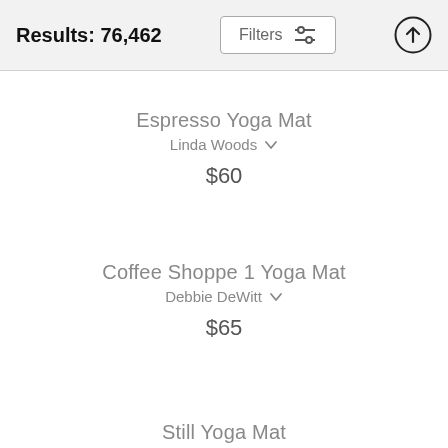Results: 76,462
Filters
Espresso Yoga Mat
Linda Woods
$60
Coffee Shoppe 1 Yoga Mat
Debbie DeWitt
$65
Still Yoga Mat